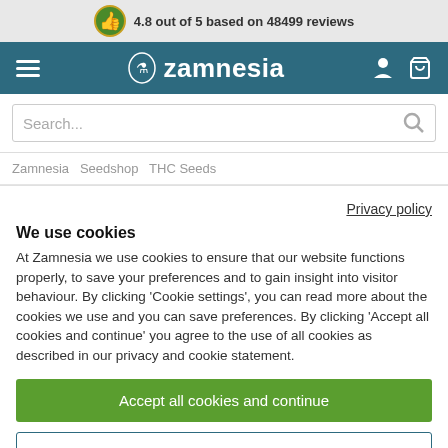4.8 out of 5 based on 48499 reviews
[Figure (logo): Zamnesia logo with mascot icon and brand name in white on teal navbar]
Search...
Zamnesia  Seedshop  THC Seeds
Privacy policy
We use cookies
At Zamnesia we use cookies to ensure that our website functions properly, to save your preferences and to gain insight into visitor behaviour. By clicking 'Cookie settings', you can read more about the cookies we use and you can save preferences. By clicking 'Accept all cookies and continue' you agree to the use of all cookies as described in our privacy and cookie statement.
Accept all cookies and continue
Cookie settings